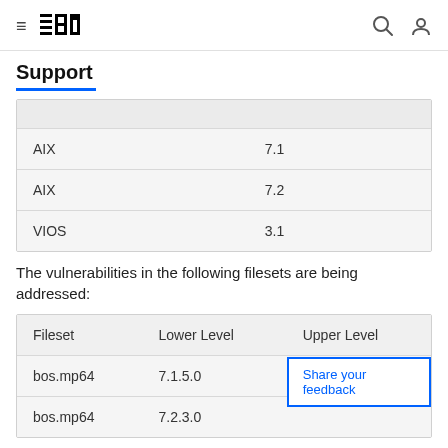IBM Support
Support
|  |  |
| --- | --- |
| AIX | 7.1 |
| AIX | 7.2 |
| VIOS | 3.1 |
The vulnerabilities in the following filesets are being addressed:
| Fileset | Lower Level | Upper Level |
| --- | --- | --- |
| bos.mp64 | 7.1.5.0 | 7.1.5.40 |
| bos.mp64 | 7.2.3.0 |  |